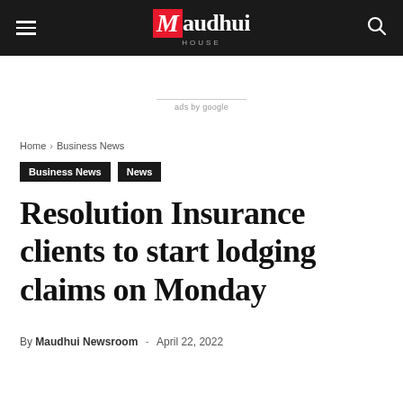Maudhui House
ads by google
Home › Business News
Business News  News
Resolution Insurance clients to start lodging claims on Monday
By Maudhui Newsroom - April 22, 2022